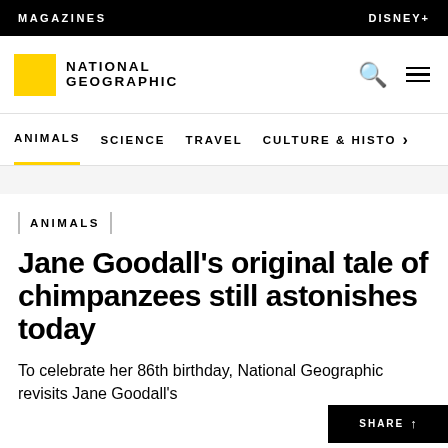MAGAZINES | DISNEY+
[Figure (logo): National Geographic yellow square logo with NATIONAL GEOGRAPHIC text]
ANIMALS   SCIENCE   TRAVEL   CULTURE & HISTORY
ANIMALS
Jane Goodall’s original tale of chimpanzees still astonishes today
To celebrate her 86th birthday, National Geographic revisits Jane Goodall’s